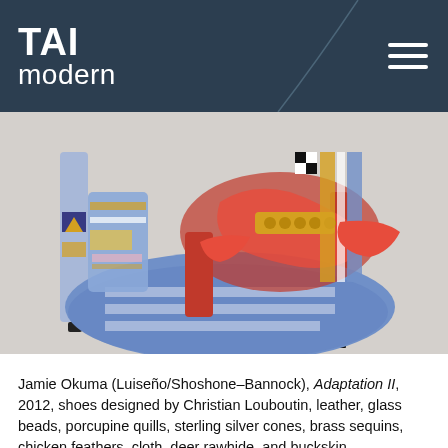TAI modern
[Figure (photo): Close-up photograph of heavily beaded and decorated high-heel shoes (Louboutin-style) featuring blue and white beadwork, red feathers, gold/brass sequins and cones, multicolored stripes, on a light grey background.]
Jamie Okuma (Luiseño/Shoshone–Bannock), Adaptation II, 2012, shoes designed by Christian Louboutin, leather, glass beads, porcupine quills, sterling silver cones, brass sequins, chicken feathers, cloth, deer rawhide, and buckskin
MINNEAPOLIS INSTITUTE OF ARTS